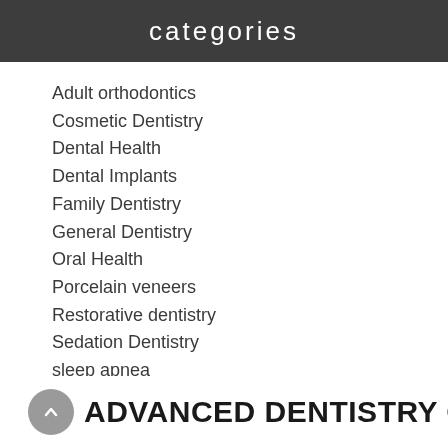categories
Adult orthodontics
Cosmetic Dentistry
Dental Health
Dental Implants
Family Dentistry
General Dentistry
Oral Health
Porcelain veneers
Restorative dentistry
Sedation Dentistry
sleep apnea
Smile makeover
Teeth Whitening
Uncategorized
ADVANCED DENTISTRY OF